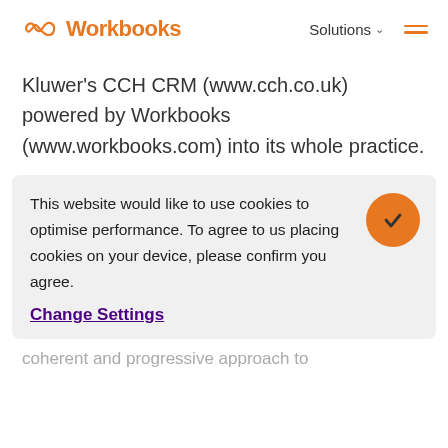Workbooks — Solutions
Kluwer's CCH CRM (www.cch.co.uk) powered by Workbooks (www.workbooks.com) into its whole practice.
This website would like to use cookies to optimise performance. To agree to us placing cookies on your device, please confirm you agree.
Change Settings
coherent and progressive approach to